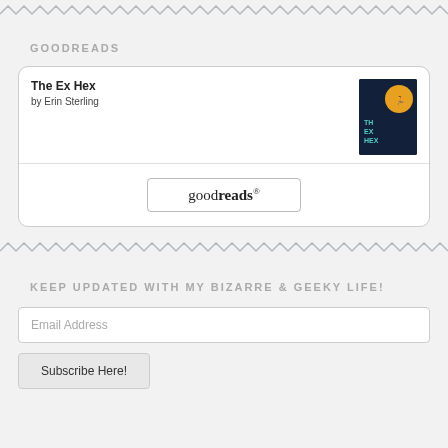[Figure (other): Wavy zigzag decorative divider line at top]
GOODREADS
[Figure (screenshot): Goodreads widget showing book 'The Ex Hex' by Erin Sterling with book cover thumbnail and goodreads button]
[Figure (other): Wavy zigzag decorative divider line in middle]
KEEP UPDATED WITH MY BIZARRE & GEEKY LIFE!
Email Address
Subscribe Here!